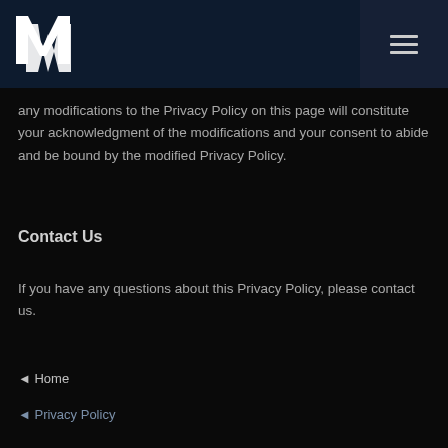[Figure (logo): MW logo — white stylized letters M and W on dark navy background]
any modifications to the Privacy Policy on this page will constitute your acknowledgment of the modifications and your consent to abide and be bound by the modified Privacy Policy.
Contact Us
If you have any questions about this Privacy Policy, please contact us.
◄ Home
◄ Privacy Policy